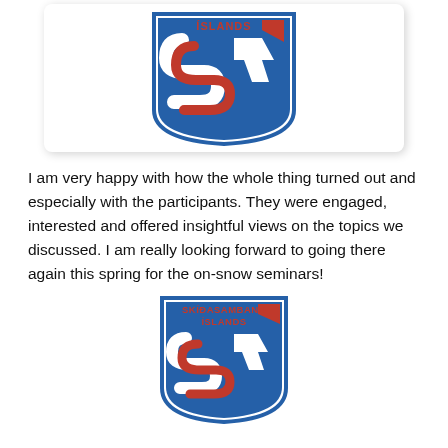[Figure (logo): Skíðasamband Íslands (SSI) logo — blue shield with red and white ski/arrow motifs and text 'ÍSLANDS' at top, shown in a white card with drop shadow]
I am very happy with how the whole thing turned out and especially with the participants. They were engaged, interested and offered insightful views on the topics we discussed. I am really looking forward to going there again this spring for the on-snow seminars!
[Figure (logo): Skíðasamband Íslands (SSI) logo — blue shield with red and white ski/arrow motifs and red text 'SKÍÐASAMBAND ÍSLANDS' at top, smaller version]